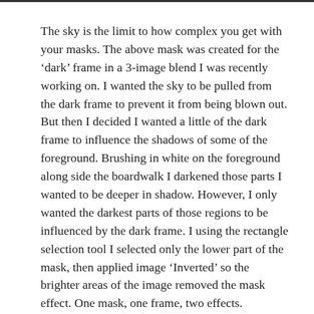The sky is the limit to how complex you get with your masks. The above mask was created for the ‘dark’ frame in a 3-image blend I was recently working on. I wanted the sky to be pulled from the dark frame to prevent it from being blown out. But then I decided I wanted a little of the dark frame to influence the shadows of some of the foreground. Brushing in white on the foreground along side the boardwalk I darkened those parts I wanted to be deeper in shadow. However, I only wanted the darkest parts of those regions to be influenced by the dark frame. I using the rectangle selection tool I selected only the lower part of the mask, then applied image ‘Inverted’ so the brighter areas of the image removed the mask effect. One mask, one frame, two effects.
Also the Phlearn Channel on YouTube has some excellent videos on masking that goes into a lot more depth and tricks than this article could ever dream to. Aaron Nace is truly a